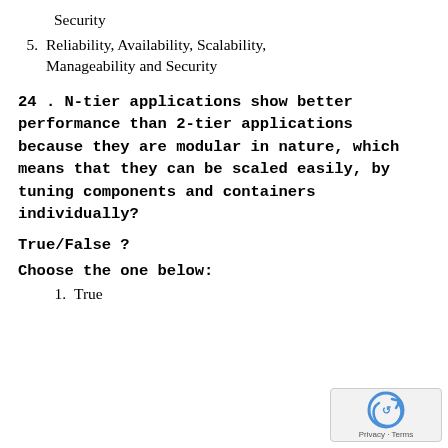Security
5.  Reliability, Availability, Scalability, Manageability and Security
24 . N-tier applications show better performance than 2-tier applications because they are modular in nature, which means that they can be scaled easily, by tuning components and containers individually?
True/False ?
Choose the one below:
1.  True